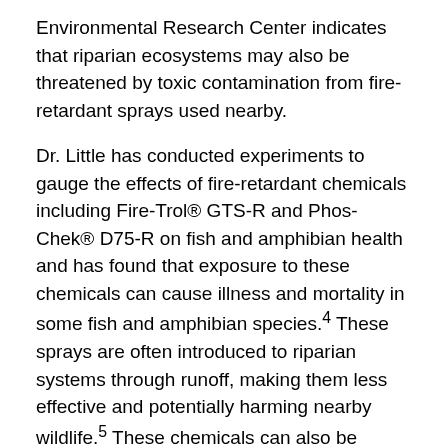Environmental Research Center indicates that riparian ecosystems may also be threatened by toxic contamination from fire-retardant sprays used nearby.
Dr. Little has conducted experiments to gauge the effects of fire-retardant chemicals including Fire-Trol® GTS-R and Phos-Chek® D75-R on fish and amphibian health and has found that exposure to these chemicals can cause illness and mortality in some fish and amphibian species.4 These sprays are often introduced to riparian systems through runoff, making them less effective and potentially harming nearby wildlife.5 These chemicals can also be introduced into riparian systems on ash from nearby fires. Furthermore, even when successful at delaying fire for long periods of time, delay often results in larger, more intense fires against which fire-retardant sprays are less effective.